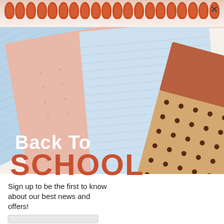[Figure (photo): Back to school promotional popup with spiral notebook photo showing pastel blue, peach, and kraft paper notebooks with polka dots arranged overlapping on white surface. Orange spiral binding shown at top.]
Back To SCHOOL
Sign up to be the first to know about our best news and offers!